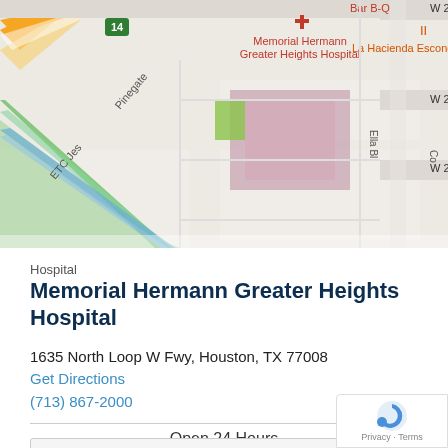[Figure (map): Google Maps screenshot showing location of Memorial Hermann Greater Heights Hospital near Ella Blvd and North Loop W Fwy in Houston, TX. Shows surrounding streets including Pinegate, ETC Jester, and cross streets W 24th, W 25th, W 26th.]
Hospital
Memorial Hermann Greater Heights Hospital
1635 North Loop W Fwy, Houston, TX 77008
Get Directions
(713) 867-2000
Open 24 Hours
Contact Us